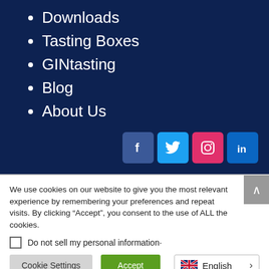Downloads
Tasting Boxes
GINtasting
Blog
About Us
[Figure (infographic): Social media icons row: Facebook (dark blue), Twitter (light blue), Instagram (red/pink), LinkedIn (blue)]
We use cookies on our website to give you the most relevant experience by remembering your preferences and repeat visits. By clicking “Accept”, you consent to the use of ALL the cookies.
Do not sell my personal information·
Cookie Settings
Accept
English